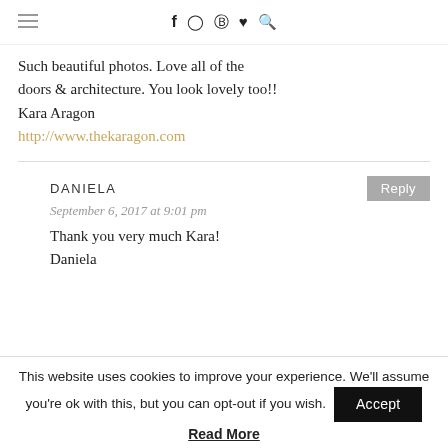f ⊙ ℗ ♥ 🔍
Such beautiful photos. Love all of the doors & architecture. You look lovely too!! Kara Aragon
http://www.thekaragon.com
DANIELA
September 6, 2017 at 9:01 pm
Thank you very much Kara!
Daniela
This website uses cookies to improve your experience. We'll assume you're ok with this, but you can opt-out if you wish.
Read More